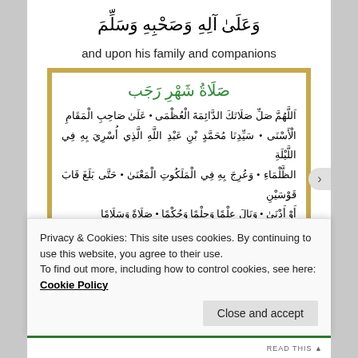وَعَلَىٰ آلِهِ وَصَحْبِهِ وَسَلِّمَ
and upon his family and companions
[Figure (other): Framed Arabic Islamic prayer text titled 'Salat Shahrajab' in green calligraphy, with Arabic prayer text in black on a gold-bordered white panel]
Privacy & Cookies: This site uses cookies. By continuing to use this website, you agree to their use.
To find out more, including how to control cookies, see here: Cookie Policy
Close and accept